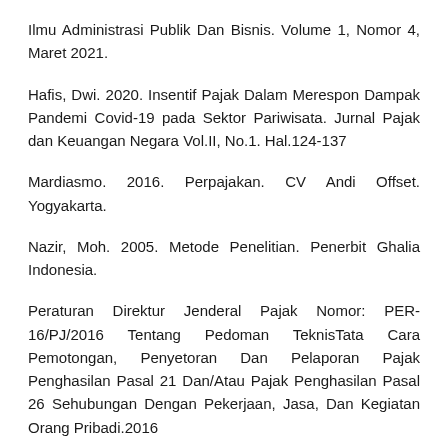Ilmu Administrasi Publik Dan Bisnis. Volume 1, Nomor 4, Maret 2021.
Hafis, Dwi. 2020. Insentif Pajak Dalam Merespon Dampak Pandemi Covid-19 pada Sektor Pariwisata. Jurnal Pajak dan Keuangan Negara Vol.II, No.1. Hal.124-137
Mardiasmo. 2016. Perpajakan. CV Andi Offset. Yogyakarta.
Nazir, Moh. 2005. Metode Penelitian. Penerbit Ghalia Indonesia.
Peraturan Direktur Jenderal Pajak Nomor: PER-16/PJ/2016 Tentang Pedoman TeknisTata Cara Pemotongan, Penyetoran Dan Pelaporan Pajak Penghasilan Pasal 21 Dan/Atau Pajak Penghasilan Pasal 26 Sehubungan Dengan Pekerjaan, Jasa, Dan Kegiatan Orang Pribadi.2016
Peraturan Menteri Keuangan Republik Indonesia Nomor